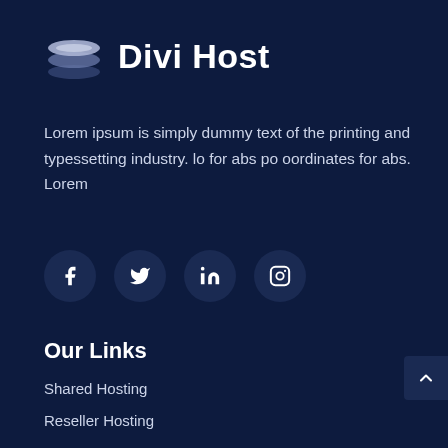[Figure (logo): Divi Host stacked layers logo icon in white/grey gradient, followed by bold white text 'Divi Host']
Lorem ipsum is simply dummy text of the printing and typessetting industry. lo for abs po oordinates for abs. Lorem
[Figure (infographic): Four social media icon circles (Facebook, Twitter, LinkedIn, Instagram) on dark navy background]
Our Links
Shared Hosting
Reseller Hosting
Host in USA
Hosting Transfer